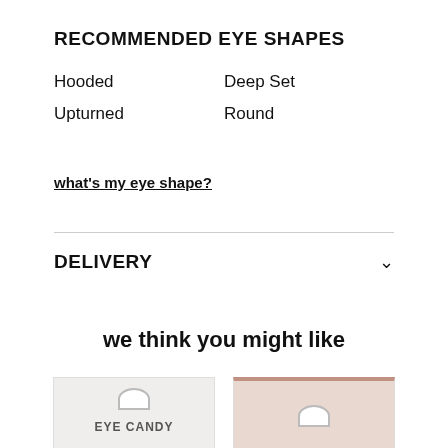RECOMMENDED EYE SHAPES
Hooded
Deep Set
Upturned
Round
what's my eye shape?
DELIVERY
we think you might like
[Figure (photo): Two product packaging cards side by side. Left card is light grey with a hanger hole and text 'EYE CANDY'. Right card has a rose/copper colored top border with a hanger hole.]